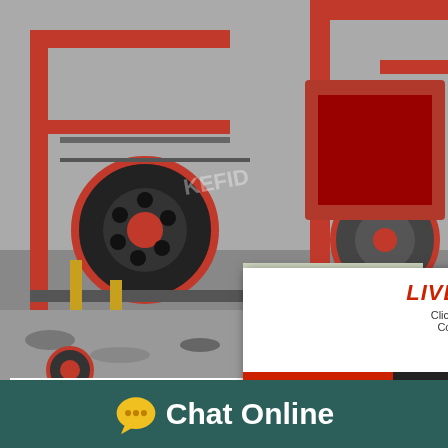[Figure (photo): Industrial mining/crushing machinery with red metal frames, conveyor belts, and large wheels in a factory setting]
[Figure (screenshot): Live chat popup overlay with smiling worker in hard hat, LIVE CHAT heading in red, 'Click for a Free Consultation' text, and Chat now / Chat later buttons]
[Figure (infographic): Customer satisfaction gauge widget on right side with smiley faces and 'Click me to chat >>' button and Enquiry section]
Strategic Environmental nt (SEA) for the
2017-8-24 - Mining Sector in Kenya Ref...
[Figure (logo): Chat Online button at bottom with yellow speech bubble icon on dark teal background]